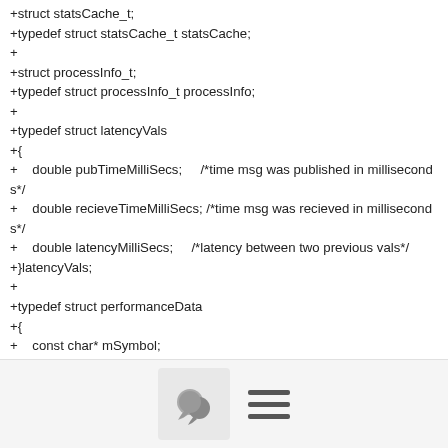+struct statsCache_t;
+typedef struct statsCache_t statsCache;
+
+struct processInfo_t;
+typedef struct processInfo_t processInfo;
+
+typedef struct latencyVals
+{
+    double pubTimeMilliSecs;      /*time msg was published in milliseconds*/
+    double recieveTimeMilliSecs; /*time msg was recieved in milliseconds*/
+    double latencyMilliSecs;     /*latency between two previous vals*/
+}latencyVals;
+
+typedef struct performanceData
+{
+    const char* mSymbol;
+    double TotalTi...
[Figure (other): Toolbar with a comment/chat bubble icon button and a hamburger menu icon]